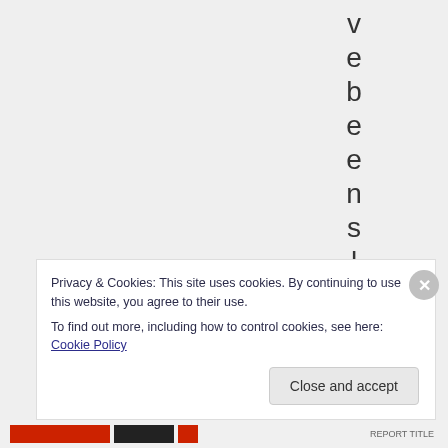[Figure (other): Vertical text spelling 'vebeenslow' with each letter on its own line, displayed on a light grey background]
Privacy & Cookies: This site uses cookies. By continuing to use this website, you agree to their use.
To find out more, including how to control cookies, see here: Cookie Policy
Close and accept